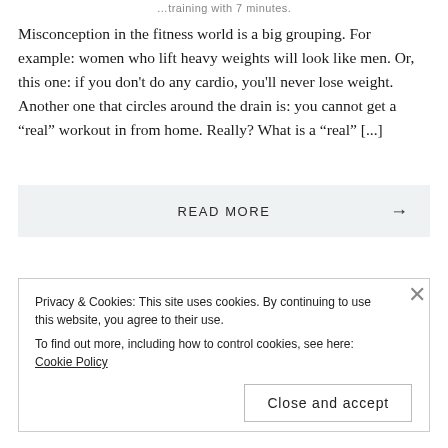…training with 7 minutes.
Misconception in the fitness world is a big grouping. For example: women who lift heavy weights will look like men. Or, this one: if you don't do any cardio, you'll never lose weight. Another one that circles around the drain is: you cannot get a “real” workout in from home. Really? What is a “real” [...]
READ MORE →
Privacy & Cookies: This site uses cookies. By continuing to use this website, you agree to their use.
To find out more, including how to control cookies, see here: Cookie Policy
Close and accept